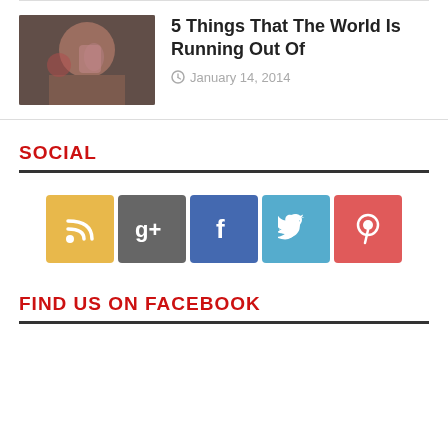[Figure (photo): Thumbnail image of a person drinking from a glass]
5 Things That The World Is Running Out Of
January 14, 2014
SOCIAL
[Figure (infographic): Row of 5 social media icon buttons: RSS (yellow), Google+ (gray), Facebook (blue), Twitter (light blue), Pinterest (red)]
FIND US ON FACEBOOK